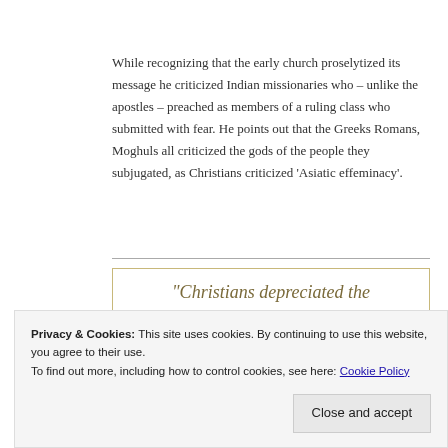While recognizing that the early church proselytized its message he criticized Indian missionaries who – unlike the apostles – preached as members of a ruling class who submitted with fear. He points out that the Greeks Romans, Moghuls all criticized the gods of the people they subjugated, as Christians criticized 'Asiatic effeminacy'.
[Figure (other): Pull quote block with border: "Christians depreciated the..."]
Privacy & Cookies: This site uses cookies. By continuing to use this website, you agree to their use. To find out more, including how to control cookies, see here: Cookie Policy
Close and accept
criticizes Christians who turn a